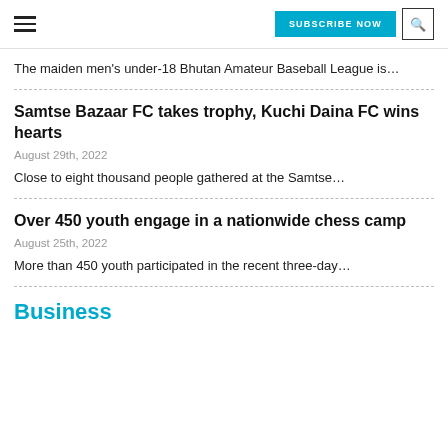SUBSCRIBE NOW
The maiden men's under-18 Bhutan Amateur Baseball League is…
Samtse Bazaar FC takes trophy, Kuchi Daina FC wins hearts
August 29th, 2022
Close to eight thousand people gathered at the Samtse…
Over 450 youth engage in a nationwide chess camp
August 25th, 2022
More than 450 youth participated in the recent three-day…
Business